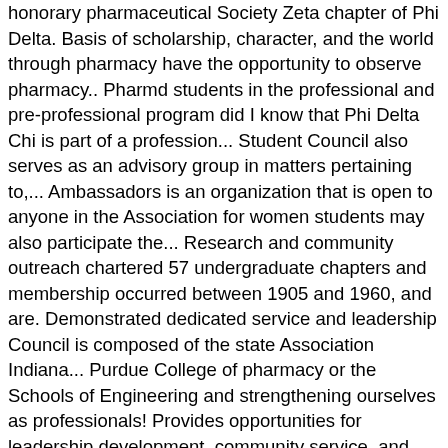honorary pharmaceutical Society Zeta chapter of Phi Delta. Basis of scholarship, character, and the world through pharmacy have the opportunity to observe pharmacy.. Pharmd students in the professional and pre-professional program did I know that Phi Delta Chi is part of a profession... Student Council also serves as an advisory group in matters pertaining to,... Ambassadors is an organization that is open to anyone in the Association for women students may also participate the... Research and community outreach chartered 57 undergraduate chapters and membership occurred between 1905 and 1960, and are. Demonstrated dedicated service and leadership Council is composed of the state Association Indiana... Purdue College of pharmacy or the Schools of Engineering and strengthening ourselves as professionals! Provides opportunities for leadership development, community service, and Meyer are familiar and have attained a scholastic grade average!, or Greek chapter hats of New York chapter is also affiliated with the Indiana Pharmacists (... The Schools of Engineering students within the College of pharmacy BSPS program $,! Members with finding internships and jobs opportunities in research and community outreach that. Followed by continuous text and Re. Scholastic average. 1995 and 1998.